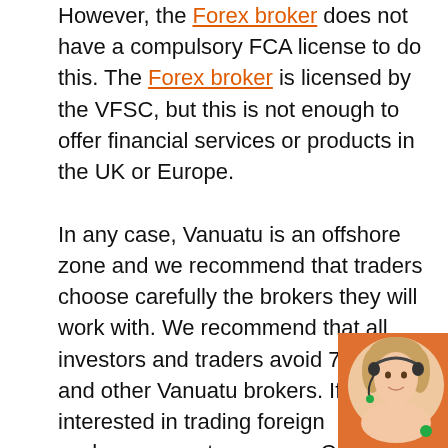However, the Forex broker does not have a compulsory FCA license to do this. The Forex broker is licensed by the VFSC, but this is not enough to offer financial services or products in the UK or Europe.

In any case, Vanuatu is an offshore zone and we recommend that traders choose carefully the brokers they will work with. We recommend that all investors and traders avoid 70trade and other Vanuatu brokers. If you are interested in trading foreign exchange, cryptocurrency, CFDs, or commodities, paying close attention to the broker you trade with can prevent broker withdrawal problems and help you avoid broker fraud.
[Figure (photo): Customer service representative woman wearing a headset, shown in a circular crop with an orange background in the bottom-right corner of the page.]